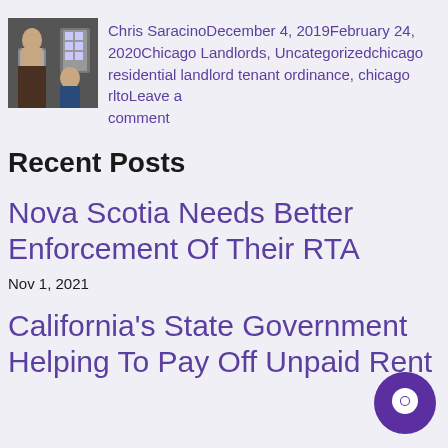Chris SaracinoDecember 4, 2019February 24, 2020Chicago Landlords, Uncategorizedchicago residential landlord tenant ordinance, chicago rltoLeave a comment
Recent Posts
Nova Scotia Needs Better Enforcement Of Their RTA
Nov 1, 2021
California's State Government Helping To Pay Off Unpaid Rent